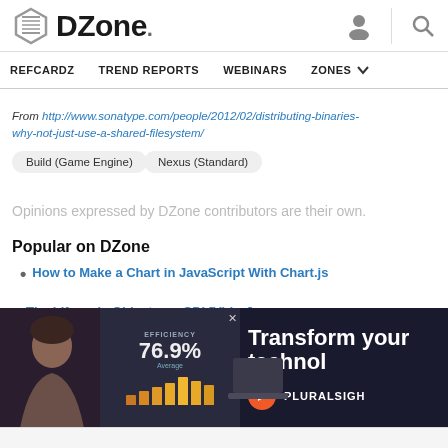DZone — REFCARDZ  TREND REPORTS  WEBINARS  ZONES
From http://www.sonatype.com/people/2012/02/distributing-binaries-why-not-just-use-a-shared-filesystem/
Build (Game Engine)
Nexus (Standard)
Opinions expressed by DZone contributors are their own.
Popular on DZone
How to Make a Chart in JavaScript With Chart.js
The Lifecycle Objects on CDI [Video]
[Figure (advertisement): Pluralsight advertisement banner showing a person, efficiency metric 76.9% Average, bar chart, and text 'Transform your techno...' with Pluralsight logo]